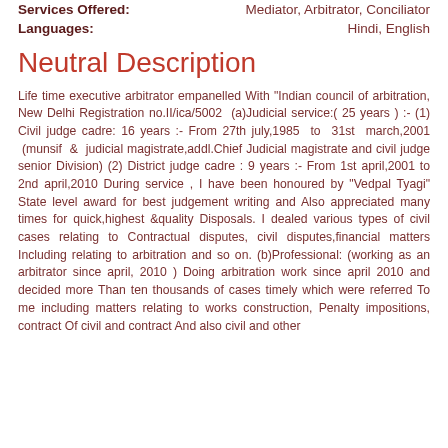Services Offered:    Mediator, Arbitrator, Conciliator
Languages:    Hindi, English
Neutral Description
Life time executive arbitrator empanelled With "Indian council of arbitration, New Delhi Registration no.II/ica/5002 (a)Judicial service:( 25 years ) :- (1) Civil judge cadre: 16 years :- From 27th july,1985 to 31st march,2001 (munsif & judicial magistrate,addl.Chief Judicial magistrate and civil judge senior Division) (2) District judge cadre : 9 years :- From 1st april,2001 to 2nd april,2010 During service , I have been honoured by "Vedpal Tyagi" State level award for best judgement writing and Also appreciated many times for quick,highest &quality Disposals. I dealed various types of civil cases relating to Contractual disputes, civil disputes,financial matters Including relating to arbitration and so on. (b)Professional: (working as an arbitrator since april, 2010 ) Doing arbitration work since april 2010 and decided more Than ten thousands of cases timely which were referred To me including matters relating to works construction, Penalty impositions, contract Of civil and contract And also civil and other